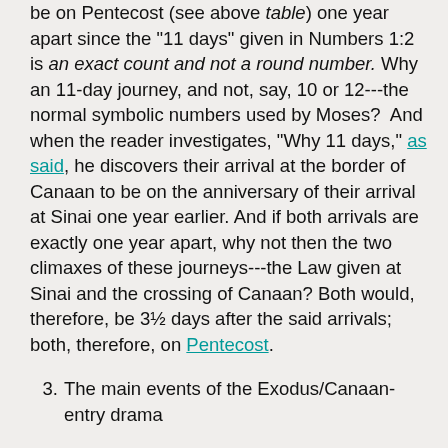be on Pentecost (see above table) one year apart since the "11 days" given in Numbers 1:2 is an exact count and not a round number. Why an 11-day journey, and not, say, 10 or 12---the normal symbolic numbers used by Moses?  And when the reader investigates, "Why 11 days," as said, he discovers their arrival at the border of Canaan to be on the anniversary of their arrival at Sinai one year earlier. And if both arrivals are exactly one year apart, why not then the two climaxes of these journeys---the Law given at Sinai and the crossing of Canaan? Both would, therefore, be 3½ days after the said arrivals; both, therefore, on Pentecost.
3.  The main events of the Exodus/Canaan-entry drama